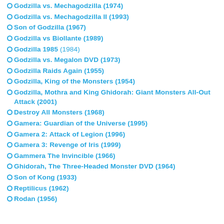Godzilla vs. Mechagodzilla (1974)
Godzilla vs. Mechagodzilla II (1993)
Son of Godzilla (1967)
Godzilla vs Biollante (1989)
Godzilla 1985 (1984)
Godzilla vs. Megalon DVD (1973)
Godzilla Raids Again (1955)
Godzilla, King of the Monsters (1954)
Godzilla, Mothra and King Ghidorah: Giant Monsters All-Out Attack (2001)
Destroy All Monsters (1968)
Gamera: Guardian of the Universe (1995)
Gamera 2: Attack of Legion (1996)
Gamera 3: Revenge of Iris (1999)
Gammera The Invincible (1966)
Ghidorah, The Three-Headed Monster DVD (1964)
Son of Kong (1933)
Reptilicus (1962)
Rodan (1956)